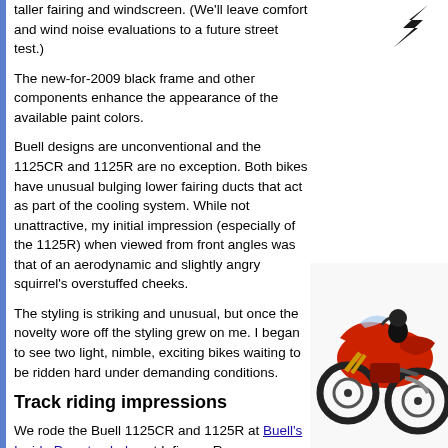taller fairing and windscreen. (We'll leave comfort and wind noise evaluations to a future street test.)
The new-for-2009 black frame and other components enhance the appearance of the available paint colors.
Buell designs are unconventional and the 1125CR and 1125R are no exception. Both bikes have unusual bulging lower fairing ducts that act as part of the cooling system. While not unattractive, my initial impression (especially of the 1125R) when viewed from front angles was that of an aerodynamic and slightly angry squirrel's overstuffed cheeks.
The styling is striking and unusual, but once the novelty wore off the styling grew on me. I began to see two light, nimble, exciting bikes waiting to be ridden hard under demanding conditions.
Track riding impressions
We rode the Buell 1125CR and 1125R at Buell's Inside Pass track day at Infineon Raceway. Although we were kept busy by track riding
2009 Bu styling fa take you
[Figure (photo): Red Buell motorcycle (1125CR or 1125R) photographed from the front-left angle, showing the distinctive fairing and front wheel.]